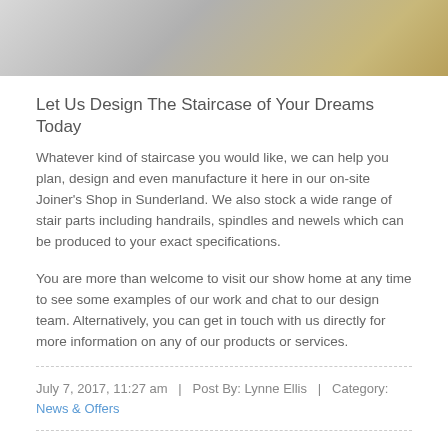[Figure (photo): Partial photo showing staircase/flooring materials with stone/tile and wood elements, cropped at top of page]
Let Us Design The Staircase of Your Dreams Today
Whatever kind of staircase you would like, we can help you plan, design and even manufacture it here in our on-site Joiner's Shop in Sunderland. We also stock a wide range of stair parts including handrails, spindles and newels which can be produced to your exact specifications.
You are more than welcome to visit our show home at any time to see some examples of our work and chat to our design team. Alternatively, you can get in touch with us directly for more information on any of our products or services.
July 7, 2017, 11:27 am   |   Post By: Lynne Ellis   |   Category: News & Offers